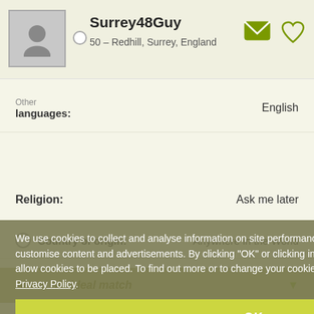Surrey48Guy — 50 – Redhill, Surrey, England
Other languages: English
Religion: Ask me later
About his ideal match
We use cookies to collect and analyse information on site performance and usage, and to enhance and customise content and advertisements. By clicking "OK" or clicking into any content on this site you agree to allow cookies to be placed. To find out more or to change your cookie settings, visit the cookies section of our Privacy Policy.
Country of origin: Anywhere in the World
Location: Within 60 miles of postcode district RH1 (Redhill)
Gender: Female
Age range: 35 - 100